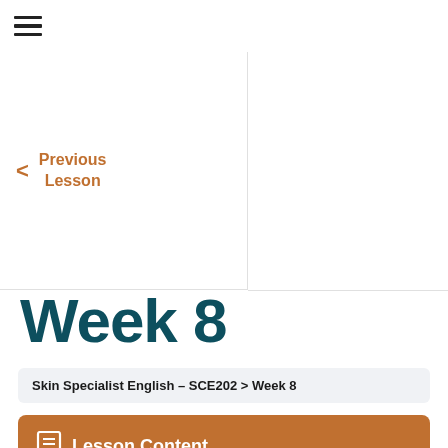☰
< Previous Lesson
Week 8
Skin Specialist English – SCE202 > Week 8
Lesson Content
0% COMPLETE | 0/1 Steps